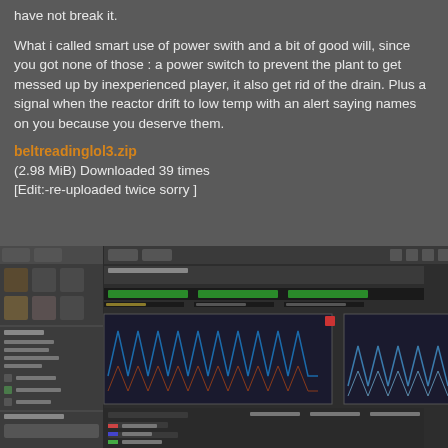have not break it.
What i called smart use of power swith and a bit of good will, since you got none of those : a power switch to prevent the plant to get messed up by inexperienced player, it also get rid of the drain. Plus a signal when the reactor drift to low temp with an alert saying names on you because you deserve them.
beltreadinglol3.zip
(2.98 MiB) Downloaded 39 times
[Edit:-re-uploaded twice sorry ]
[Figure (screenshot): Screenshot of a game interface showing reactor monitoring panels with green progress bars, blue oscilloscope-like waveform graphs, data panels on the left side, and what appears to be a game world view on the right showing copper-colored structures/machinery.]